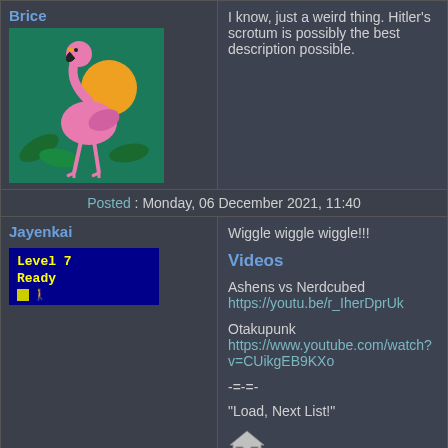Brice
[Figure (illustration): Pink flamingo illustration on green tropical background]
I know, just a weird thing. Hitler's scrotum is possibly the best description possible.
Posted : Monday, 06 December 2021, 11:40
Jayenkai
[Figure (screenshot): Level 7 Ready badge - blue background with yellow text and icon]
Wiggle wiggle wiggle!!!
Videos
Ashens vs Nerdcubed https://youtu.be/r_IherDprUk
Otakupunk https://www.youtube.com/watch?v=CUikgEB9KXo
-=-=-
"Load, Next List!"
[Figure (illustration): Small house/home icon]
Posted : Tuesday, 07 December 2021, 05:42
Jayenkai
[Figure (screenshot): Level 7 Ready badge - blue background with yellow text and icon]
Day Seven
Goodies of the Day
Degustabox